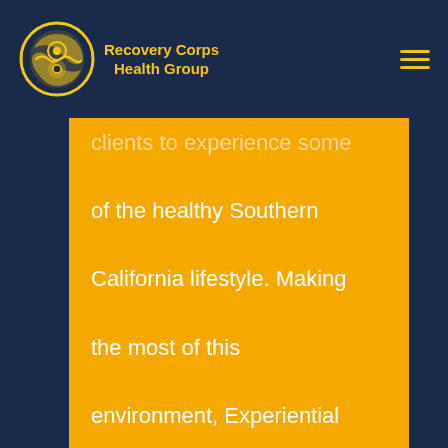Recovery Corps Health Group
clients to experience some of the healthy Southern California lifestyle. Making the most of this environment, Experiential Therapy focuses on each individual client experience, how that individual can learn to understand their emotions, and the impact those emotions has on their direct behavior. Experiential